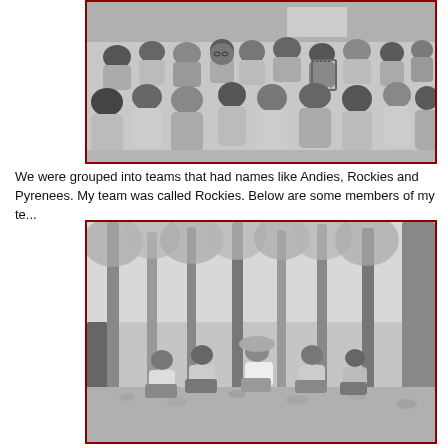[Figure (photo): Black and white photograph of a large group of people seated together, viewed mostly from behind, in what appears to be an indoor gathering or meeting.]
We were grouped into teams that had names like Andies, Rockies and Pyrenees. My team was called Rockies. Below are some members of my te...
[Figure (photo): Black and white photograph of several young people sitting on the ground in a wooded area with trees around them.]